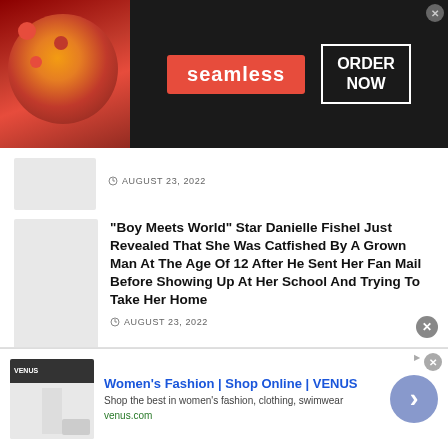[Figure (screenshot): Seamless food delivery advertisement banner with pizza image on left, red Seamless logo badge in center, and ORDER NOW box with white border on dark background. X close button top right.]
AUGUST 23, 2022
“Boy Meets World” Star Danielle Fishel Just Revealed That She Was Catfished By A Grown Man At The Age Of 12 After He Sent Her Fan Mail Before Showing Up At Her School And Trying To Take Her Home
AUGUST 23, 2022
Home > News
[Figure (screenshot): Women’s Fashion | Shop Online | VENUS advertisement. Shows VENUS website screenshot thumbnail on left, blue title text, subtitle text 'Shop the best in women’s fashion, clothing, swimwear', green venus.com URL, and purple circle arrow button on right.]